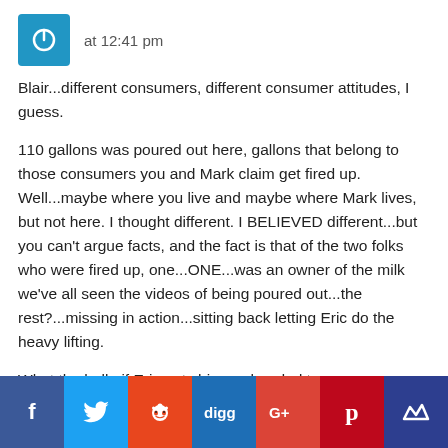at 12:41 pm
Blair...different consumers, different consumer attitudes, I guess.
110 gallons was poured out here, gallons that belong to those consumers you and Mark claim get fired up. Well...maybe where you live and maybe where Mark lives, but not here. I thought different. I BELIEVED different...but you can't argue facts, and the fact is that of the two folks who were fired up, one...ONE...was an owner of the milk we've all seen the videos of being poured out...the rest?...missing in action...sitting back letting Eric do the heavy lifting.
What the hell...if Eric gets his ass handed to
[Figure (infographic): Social media sharing bar with icons for Facebook, Twitter, Reddit, Digg, Google+, Pinterest, and Mix]